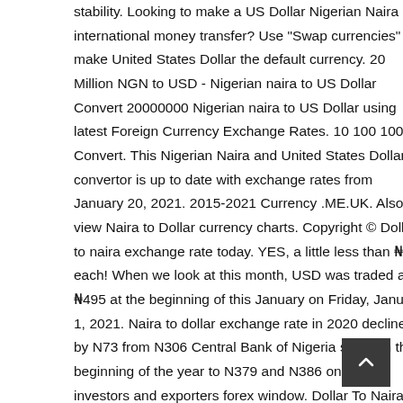stability. Looking to make a US Dollar Nigerian Naira international money transfer? Use "Swap currencies" to make United States Dollar the default currency. 20 Million NGN to USD - Nigerian naira to US Dollar Convert 20000000 Nigerian naira to US Dollar using latest Foreign Currency Exchange Rates. 10 100 1000 Convert. This Nigerian Naira and United States Dollar convertor is up to date with exchange rates from January 20, 2021. 2015-2021 Currency .ME.UK. Also, view Naira to Dollar currency charts. Copyright © Dollar to naira exchange rate today. YES, a little less than ₦7 each! When we look at this month, USD was traded at ₦495 at the beginning of this January on Friday, January 1, 2021. Naira to dollar exchange rate in 2020 declined by N73 from N306 Central Bank of Nigeria sold it in the beginning of the year to N379 and N386 on the investors and exporters forex window. Dollar To Naira Exchange Rate Today
[Figure (other): Dark grey scroll-to-top button with upward chevron arrow icon, positioned in the lower right corner]